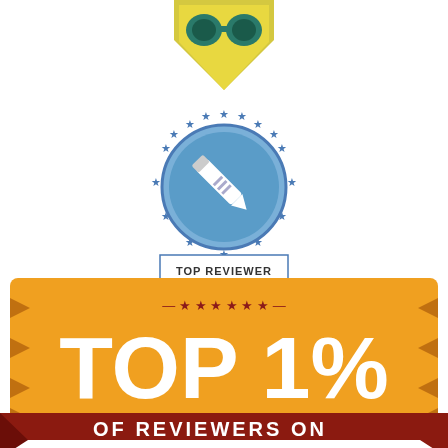[Figure (logo): Partial yellow/green badge or shield logo at the top of the page, partially cut off]
[Figure (logo): Blue circular badge with pencil/edit icon in center, surrounded by stars, with 'TOP REVIEWER' text label below it]
[Figure (infographic): Orange rectangular badge/plaque shape with dark red decorative notches on sides, containing stars and dashes decoration at top, large white bold text 'TOP 1%', and dark red ribbon banner at bottom with white text 'OF REVIEWERS ON']